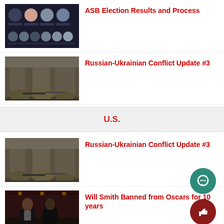[Figure (photo): Group photo grid of ASB election candidates with profile pictures on dark background]
ASB Election Results and Process
[Figure (photo): Soldiers in combat gear aiming rifles in an urban warzone setting]
Russian-Ukrainian Conflict Update #3
U.S.
[Figure (photo): Soldiers in combat gear aiming rifles in an urban warzone setting]
Russian-Ukrainian Conflict Update #3
[Figure (photo): Two men in tuxedos at Oscars event, one appearing to confront the other]
Will Smith Banned from Oscars for 10 years